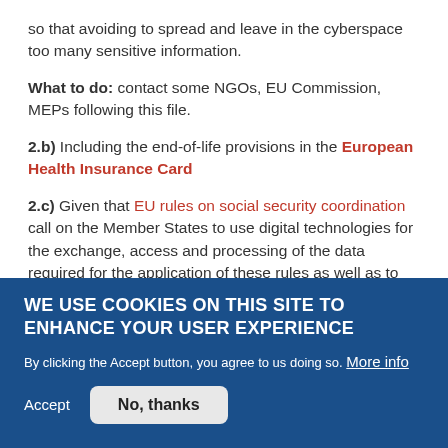so that avoiding to spread and leave in the cyberspace too many sensitive information.
What to do: contact some NGOs, EU Commission, MEPs following this file.
2.b) Including the end-of-life provisions in the European Health Insurance Card
2.c) Given that EU rules on social security coordination call on the Member States to use digital technologies for the exchange, access and processing of the data required for the application of these rules as well as to offer user-
WE USE COOKIES ON THIS SITE TO ENHANCE YOUR USER EXPERIENCE
By clicking the Accept button, you agree to us doing so. More info
Accept
No, thanks